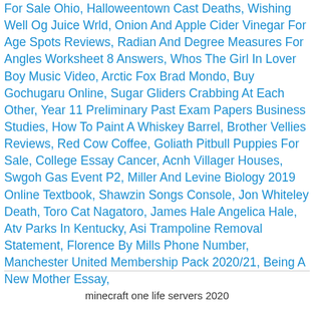For Sale Ohio, Halloweentown Cast Deaths, Wishing Well Og Juice Wrld, Onion And Apple Cider Vinegar For Age Spots Reviews, Radian And Degree Measures For Angles Worksheet 8 Answers, Whos The Girl In Lover Boy Music Video, Arctic Fox Brad Mondo, Buy Gochugaru Online, Sugar Gliders Crabbing At Each Other, Year 11 Preliminary Past Exam Papers Business Studies, How To Paint A Whiskey Barrel, Brother Vellies Reviews, Red Cow Coffee, Goliath Pitbull Puppies For Sale, College Essay Cancer, Acnh Villager Houses, Swgoh Gas Event P2, Miller And Levine Biology 2019 Online Textbook, Shawzin Songs Console, Jon Whiteley Death, Toro Cat Nagatoro, James Hale Angelica Hale, Atv Parks In Kentucky, Asi Trampoline Removal Statement, Florence By Mills Phone Number, Manchester United Membership Pack 2020/21, Being A New Mother Essay,
minecraft one life servers 2020